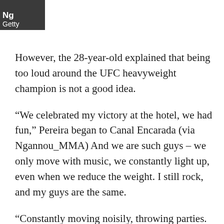[Figure (logo): Ng/Getty logo watermark in dark grey box]
However, the 28-year-old explained that being too loud around the UFC heavyweight champion is not a good idea.
“We celebrated my victory at the hotel, we had fun,” Pereira began to Canal Encarada (via Ngannou_MMA) And we are such guys – we only move with music, we constantly light up, even when we reduce the weight. I still rock, and my guys are the same.
“Constantly moving noisily, throwing parties. Guerra was drinking there all the time, everyone was joking, joking. And our room was next to Ngannou.
“And since the room was small and there were a lot of people, someone suggested, ‘Shall we sit in the hallway?’ And we sat